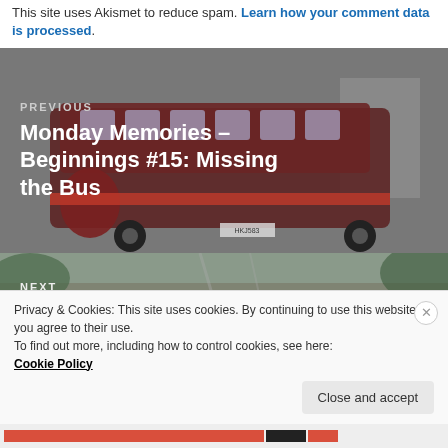This site uses Akismet to reduce spam. Learn how your comment data is processed.
[Figure (photo): Previous post navigation block showing a vintage dark red double-decker bus photo with overlay text: PREVIOUS - Monday Memories – Beginnings #15: Missing the Bus]
[Figure (photo): Next post navigation block showing a photo of a pathway/garden with overlay text: NEXT]
Privacy & Cookies: This site uses cookies. By continuing to use this website, you agree to their use.
To find out more, including how to control cookies, see here:
Cookie Policy
Close and accept